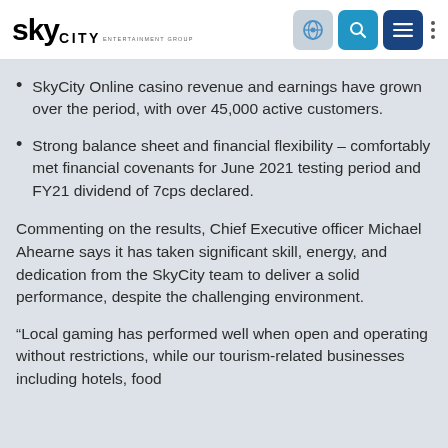SkyCity Entertainment Group
SkyCity Online casino revenue and earnings have grown over the period, with over 45,000 active customers.
Strong balance sheet and financial flexibility – comfortably met financial covenants for June 2021 testing period and FY21 dividend of 7cps declared.
Commenting on the results, Chief Executive officer Michael Ahearne says it has taken significant skill, energy, and dedication from the SkyCity team to deliver a solid performance, despite the challenging environment.
“Local gaming has performed well when open and operating without restrictions, while our tourism-related businesses including hotels, food